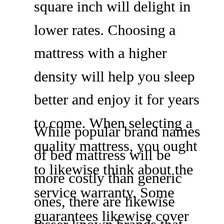square inch will delight in lower rates. Choosing a mattress with a higher density will help you sleep better and enjoy it for years to come. When selecting a quality mattress, you ought to likewise think about the service warranty. Some guarantees likewise cover shipping and managing expenses.
While popular brand names of bed mattress will be more costly than generic ones, there are likewise lesser known brands that deserve your money. Shopping for a mattress online is your best option for the very best price because you'll skip the